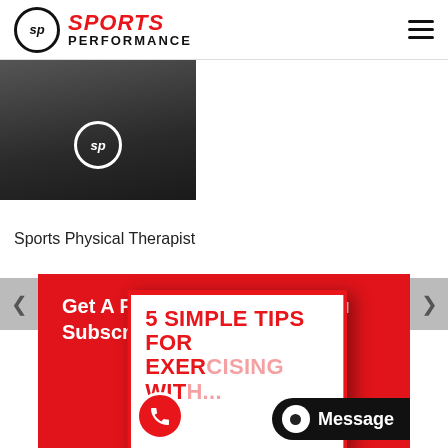SPORTS PERFORMANCE
[Figure (photo): Person wearing a black Sports Performance shirt with SP logo]
Sports Physical Therapist
[Figure (photo): Red promotional banner with white text 'Get A FREE E-Book When You Subscribe To Our Blog!' and a book cover showing '5 SIMPLE TIPS FOR EXERCISING WITH...' with a woman in background. Overlaid with a phone call button and a Message button.]